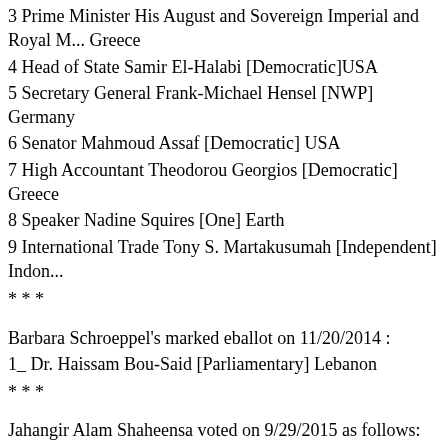3 Prime Minister His August and Sovereign Imperial and Royal M... Greece
4 Head of State Samir El-Halabi [Democratic]USA
5 Secretary General Frank-Michael Hensel [NWP] Germany
6 Senator Mahmoud Assaf [Democratic] USA
7 High Accountant Theodorou Georgios [Democratic] Greece
8 Speaker Nadine Squires [One] Earth
9 International Trade Tony S. Martakusumah [Independent] Indon...
* * *
Barbara Schroeppel's marked eballot on 11/20/2014 :
1_ Dr. Haissam Bou-Said [Parliamentary] Lebanon
* * *
Jahangir Alam Shaheensa voted on 9/29/2015 as follows:
1 President Edlira Zeka [Earth] Earth
* * *
Haji Ajmal Shamali [Independent] Afghanistan Voted on 9/18/201...
1 Haji Ajmal Shamali [Independent] Afghanistan
* * *
Taras Shevchenko's (Peace, International Mission for the Peace) , Facebook:
1. James Ogle (Republican), USA.
2. Taras Shevchenko (Peace, International Mission for the Peace)...